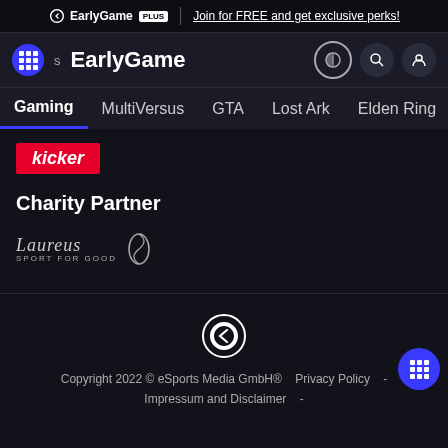EarlyGame PLUS | Join for FREE and get exclusive perks!
[Figure (logo): EarlyGame navigation bar with logo, title, and icons]
[Figure (screenshot): Navigation menu bar: Gaming, MultiVersus, GTA, Lost Ark, Elden Ring, News, Revie...]
[Figure (logo): kicker logo - red background with italic white text]
Charity Partner
[Figure (logo): Laureus Sport for Good logo]
[Figure (logo): EarlyGame central logo in footer]
Copyright 2022 © eSports Media GmbH® Privacy Policy - Impressum and Disclaimer -